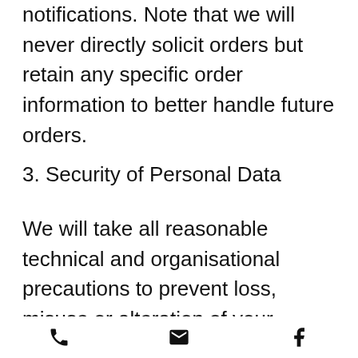notifications. Note that we will never directly solicit orders but retain any specific order information to better handle future orders.
3. Security of Personal Data
We will take all reasonable technical and organisational precautions to prevent loss, misuse or alteration of your personal data: a. Information will be stored on secure
phone | email | facebook